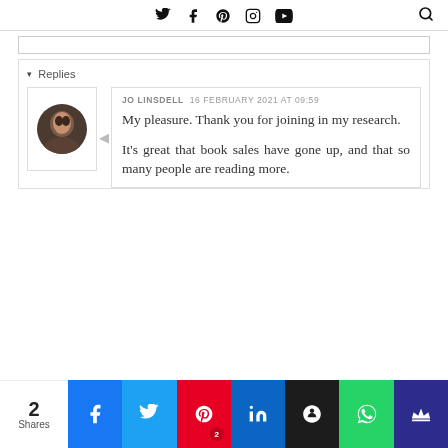Social media icons: Twitter, Facebook, Pinterest, Instagram, YouTube, Search
▾ Replies
JO LINSDELL  16 FEBRUARY 2021 AT 09:59
My pleasure. Thank you for joining in my research.

It's great that book sales have gone up, and that so many people are reading more.
2 Shares | Facebook | Twitter | Pinterest 2 | LinkedIn | Hootsuite | WhatsApp | Crown